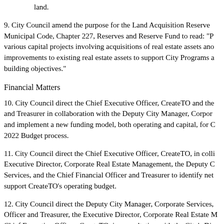land.
9. City Council amend the purpose for the Land Acquisition Reserve Municipal Code, Chapter 227, Reserves and Reserve Fund to read: "P various capital projects involving acquisitions of real estate assets and improvements to existing real estate assets to support City Programs a building objectives."
Financial Matters
10. City Council direct the Chief Executive Officer, CreateTO and the and Treasurer in collaboration with the Deputy City Manager, Corpor and implement a new funding model, both operating and capital, for C 2022 Budget process.
11. City Council direct the Chief Executive Officer, CreateTO, in coll Executive Director, Corporate Real Estate Management, the Deputy C Services, and the Chief Financial Officer and Treasurer to identify net support CreateTO's operating budget.
12. City Council direct the Deputy City Manager, Corporate Services, Officer and Treasurer, the Executive Director, Corporate Real Estate M Chief Executive Officer, CreateTO, in consultation with the City's Di Corporations to establish a City-wide view of real estate capital needs prioritization of real estate capital expenditures on a City-wide basis f